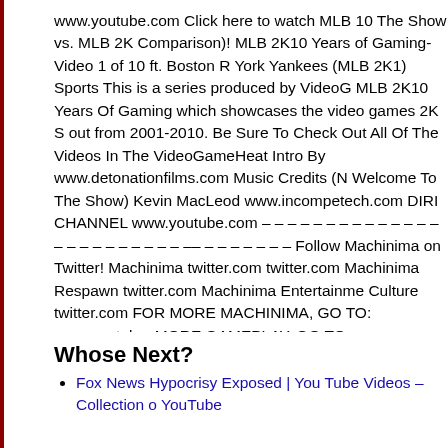www.youtube.com Click here to watch MLB 10 The Show vs. MLB 2K Comparison)! MLB 2K10 Years of Gaming- Video 1 of 10 ft. Boston R York Yankees (MLB 2K1) Sports This is a series produced by VideoG MLB 2K10 Years Of Gaming which showcases the video games 2K S out from 2001-2010. Be Sure To Check Out All Of The Videos In The VideoGameHeat Intro By www.detonationfilms.com Music Credits (N Welcome To The Show) Kevin MacLeod www.incompetech.com DIRI CHANNEL www.youtube.com – – – – – – – – – – – – – – – – – – – – – – – – – Follow Machinima on Twitter! Machinima twitter.com twitter.com Machinima Respawn twitter.com Machinima Entertainme Culture twitter.com FOR MORE MACHINIMA, GO TO: www.youtube. MORE GAMEPLAY, GO TO: www.youtube.com FOR MORE SPORT GO TO: www.youtube.com TAGS: Kevin MacLeod incompetech ten Y Gaming retrospective World Series Sega Dreamcast Boston Red So: New York Yankees Yankee Stadium 2K Sports VideoGameHeat Vide los angeles dodgers la yt:quality=high MLB 2K10 Major League Base Concepts 2K Sports Microsoft Windows Xbox360 Xbox 360 Playstati PSP portable player hitter pitch espn sunday night spring training we world series all star homerun rbi 2000003385171 2000003704088 cd
Whose Next?
Fox News Hypocrisy Exposed | You Tube Videos – Collection o YouTube